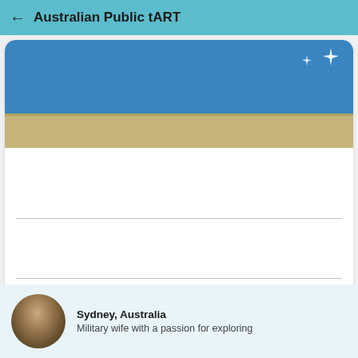← Australian Public tART
[Figure (photo): Photo of a blue painted wall with a sandy/tan ledge at the bottom. There are white star/sparkle decorations visible in the upper right of the blue wall section.]
Sydney, Australia
Military wife with a passion for exploring